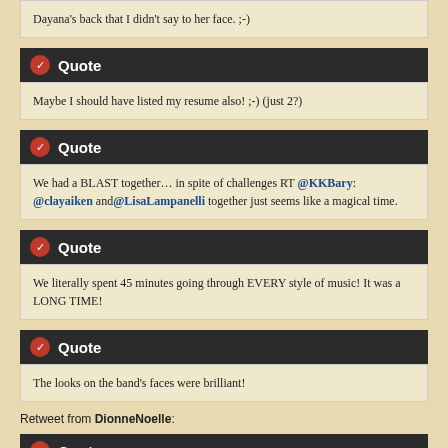Dayana's back that I didn't say to her face. ;-)
Quote
Maybe I should have listed my resume also! ;-) (just 2?)
Quote
We had a BLAST together… in spite of challenges RT @KKBary: @clayaiken and@LisaLampanelli together just seems like a magical time.
Quote
We literally spent 45 minutes going through EVERY style of music! It was a LONG TIME!
Quote
The looks on the band's faces were brilliant!
Retweet from DionneNoelle:
Quote